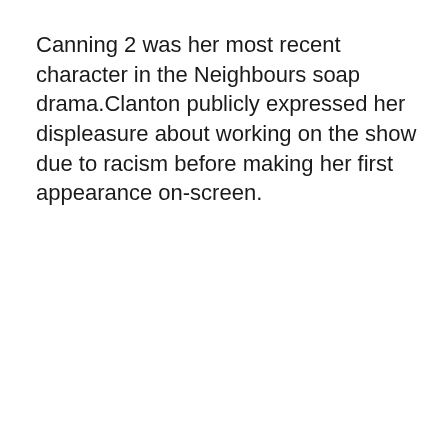Canning 2 was her most recent character in the Neighbours soap drama.Clanton publicly expressed her displeasure about working on the show due to racism before making her first appearance on-screen.